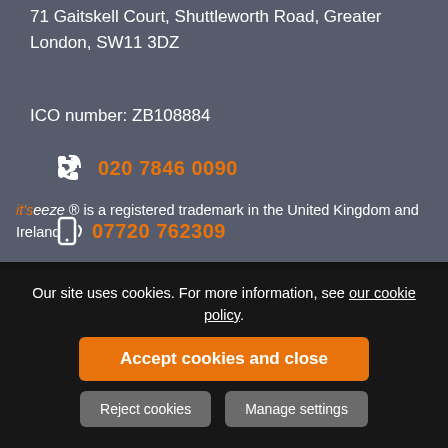71 Gaitskell Court, Shuttleworth Road, Greater London, SW11 3DZ
ICO number: ZB108884
020 7846 0090
07720 762309
it'seeze ® is a registered trademark in the United Kingdom and Ireland
Our site uses cookies. For more information, see our cookie policy.
Accept cookies and close
Reject cookies
Manage settings